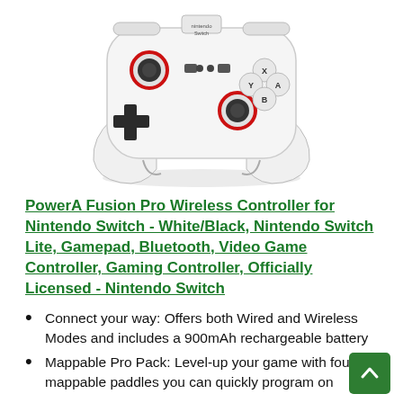[Figure (photo): White and red Nintendo Switch compatible wireless game controller (PowerA Fusion Pro) viewed from above, showing dual analog sticks with red rings, D-pad, face buttons (X, Y, A, B), and Nintendo Switch branding.]
PowerA Fusion Pro Wireless Controller for Nintendo Switch - White/Black, Nintendo Switch Lite, Gamepad, Bluetooth, Video Game Controller, Gaming Controller, Officially Licensed - Nintendo Switch
Connect your way: Offers both Wired and Wireless Modes and includes a 900mAh rechargeable battery
Mappable Pro Pack: Level-up your game with four mappable paddles you can quickly program on...